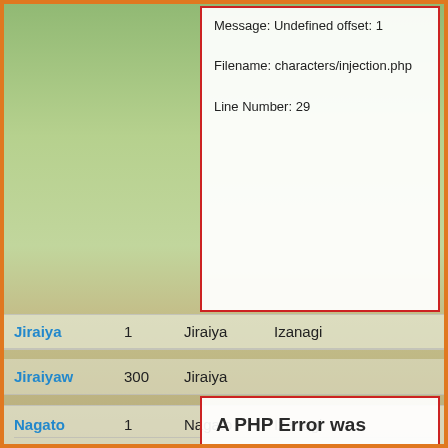[Figure (illustration): Anime-style forest background with trees, green foliage and dirt path]
Message: Undefined offset: 1

Filename: characters/injection.php

Line Number: 29
| Name | Num | Val1 | Val2 |
| --- | --- | --- | --- |
| Jiraiya | 1 | Jiraiya | Izanagi |
| Jiraiyaw | 300 | Jiraiya |  |
A PHP Error was encountered

Severity: Notice

Message: Undefined offset: 1

Filename: characters/injection.php

Line Number: 29
Nagato	1	Nagato	Izanagi